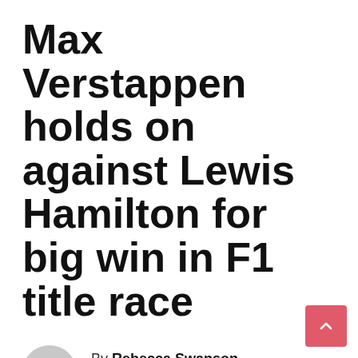Max Verstappen holds on against Lewis Hamilton for big win in F1 title race
By Rebecca Swanson
OCT 25, 2021
United States GP: Max Verstappen